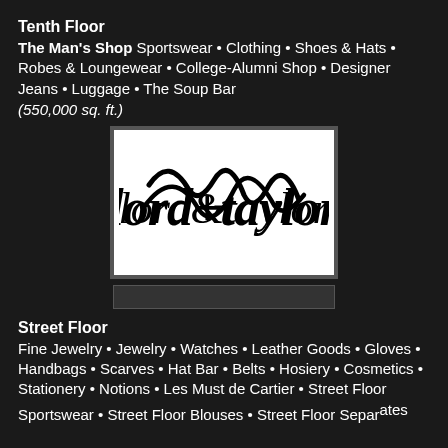Tenth Floor
The Man's Shop Sportswear • Clothing • Shoes & Hats • Robes & Loungewear • College-Alumni Shop • Designer Jeans • Luggage • The Soup Bar
(550,000 sq. ft.)
[Figure (logo): Lord & Taylor cursive/script logo in black on white background]
[Figure (other): Dark banner/divider graphic with faint text]
Street Floor
Fine Jewelry • Jewelry • Watches • Leather Goods • Gloves • Handbags • Scarves • Hat Bar • Belts • Hosiery • Cosmetics • Stationery • Notions • Les Must de Cartier • Street Floor Sportswear • Street Floor Blouses • Street Floor Separates